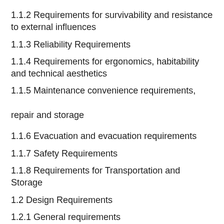1.1.2 Requirements for survivability and resistance to external influences
1.1.3 Reliability Requirements
1.1.4 Requirements for ergonomics, habitability and technical aesthetics
1.1.5 Maintenance convenience requirements, repair and storage
1.1.6 Evacuation and evacuation requirements
1.1.7 Safety Requirements
1.1.8 Requirements for Transportation and Storage
1.2 Design Requirements
1.2.1 General requirements
1.2.2 Requirements for engine and engine systems